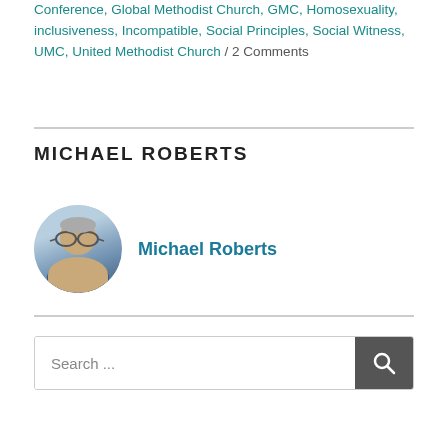Conference, Global Methodist Church, GMC, Homosexuality, inclusiveness, Incompatible, Social Principles, Social Witness, UMC, United Methodist Church / 2 Comments
MICHAEL ROBERTS
[Figure (photo): Headshot photo of Michael Roberts, a man with glasses and graying hair wearing a dark jacket]
Michael Roberts
Search ...